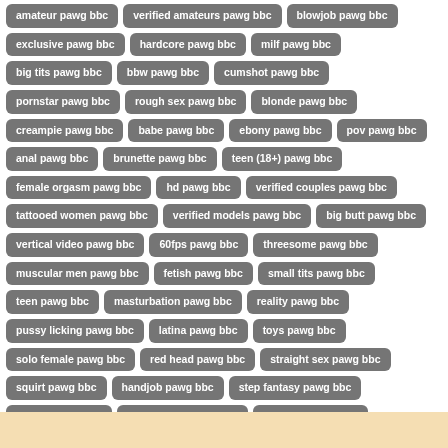amateur pawg bbc
verified amateurs pawg bbc
blowjob pawg bbc
exclusive pawg bbc
hardcore pawg bbc
milf pawg bbc
big tits pawg bbc
bbw pawg bbc
cumshot pawg bbc
pornstar pawg bbc
rough sex pawg bbc
blonde pawg bbc
creampie pawg bbc
babe pawg bbc
ebony pawg bbc
pov pawg bbc
anal pawg bbc
brunette pawg bbc
teen (18+) pawg bbc
female orgasm pawg bbc
hd pawg bbc
verified couples pawg bbc
tattooed women pawg bbc
verified models pawg bbc
big butt pawg bbc
vertical video pawg bbc
60fps pawg bbc
threesome pawg bbc
muscular men pawg bbc
fetish pawg bbc
small tits pawg bbc
teen pawg bbc
masturbation pawg bbc
reality pawg bbc
pussy licking pawg bbc
latina pawg bbc
toys pawg bbc
solo female pawg bbc
red head pawg bbc
straight sex pawg bbc
squirt pawg bbc
handjob pawg bbc
step fantasy pawg bbc
mature pawg bbc
compilation pawg bbc
romantic pawg bbc
gangbang pawg bbc